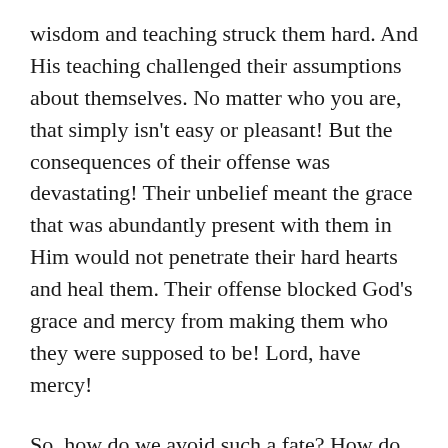wisdom and teaching struck them hard. And His teaching challenged their assumptions about themselves. No matter who you are, that simply isn't easy or pleasant! But the consequences of their offense was devastating! Their unbelief meant the grace that was abundantly present with them in Him would not penetrate their hard hearts and heal them. Their offense blocked God's grace and mercy from making them who they were supposed to be! Lord, have mercy!
So, how do we avoid such a fate? How do we keep from being offended by Christ's wisdom? First, we have to allow our assumptions to be challenged without getting defensive! That takes the humble admission that I need to be taught. I have to be willing to confess my need for Christ before I will